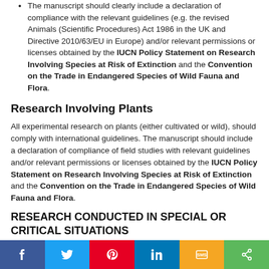The manuscript should clearly include a declaration of compliance with the relevant guidelines (e.g. the revised Animals (Scientific Procedures) Act 1986 in the UK and Directive 2010/63/EU in Europe) and/or relevant permissions or licenses obtained by the IUCN Policy Statement on Research Involving Species at Risk of Extinction and the Convention on the Trade in Endangered Species of Wild Fauna and Flora.
Research Involving Plants
All experimental research on plants (either cultivated or wild), should comply with international guidelines. The manuscript should include a declaration of compliance of field studies with relevant guidelines and/or relevant permissions or licenses obtained by the IUCN Policy Statement on Research Involving Species at Risk of Extinction and the Convention on the Trade in Endangered Species of Wild Fauna and Flora.
RESEARCH CONDUCTED IN SPECIAL OR CRITICAL SITUATIONS
Bentham Science expects all contributors to respect